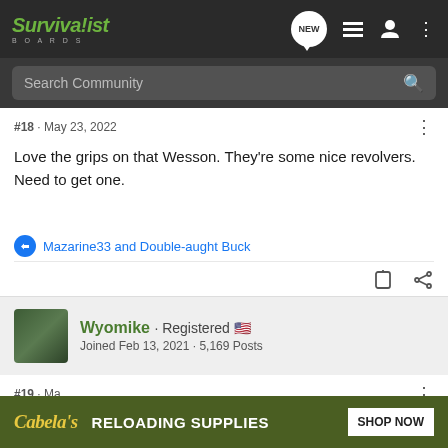Survivalist BOARDS
Search Community
#18 · May 23, 2022
Love the grips on that Wesson. They're some nice revolvers. Need to get one.
Mazarine33 and Double-aught Buck
Wyomike · Registered
Joined Feb 13, 2021 · 5,169 Posts
#19 · Ma
[Figure (screenshot): Cabela's advertisement banner: 'RELOADING SUPPLIES' with 'SHOP NOW' button on olive green background]